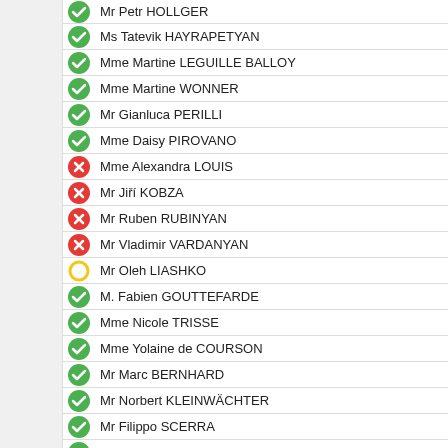Mr Petr HOLLGER
Ms Tatevik HAYRAPETYAN
Mme Martine LEGUILLE BALLOY
Mme Martine WONNER
Mr Gianluca PERILLI
Mme Daisy PIROVANO
Mme Alexandra LOUIS
Mr Jiří KOBZA
Mr Ruben RUBINYAN
Mr Vladimir VARDANYAN
Mr Oleh LIASHKO
M. Fabien GOUTTEFARDE
Mme Nicole TRISSE
Mme Yolaine de COURSON
Mr Marc BERNHARD
Mr Norbert KLEINWÄCHTER
Mr Filippo SCERRA
M. Marc LYESCOI